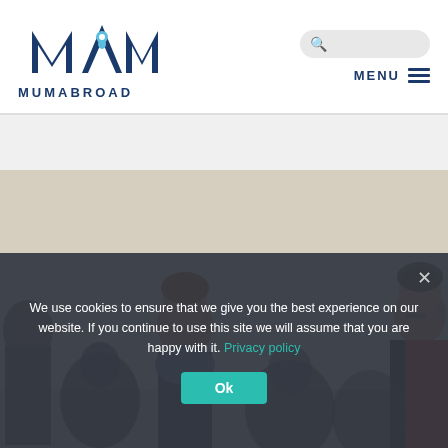[Figure (logo): MumAbroad logo — stylized M and A letters with a location pin in dark navy blue, with text MUMABROAD below]
[Figure (photo): Group photo of several women in a room with a light-colored wall, partially visible on the right side]
We use cookies to ensure that we give you the best experience on our website. If you continue to use this site we will assume that you are happy with it. Privacy policy
Ok